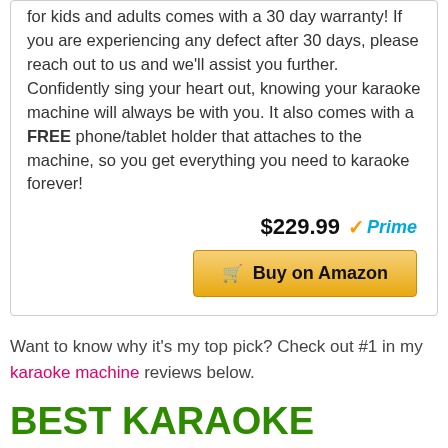for kids and adults comes with a 30 day warranty! If you are experiencing any defect after 30 days, please reach out to us and we'll assist you further. Confidently sing your heart out, knowing your karaoke machine will always be with you. It also comes with a FREE phone/tablet holder that attaches to the machine, so you get everything you need to karaoke forever!
$229.99 Prime
Buy on Amazon
Want to know why it's my top pick? Check out #1 in my karaoke machine reviews below.
BEST KARAOKE MACHINES FOR